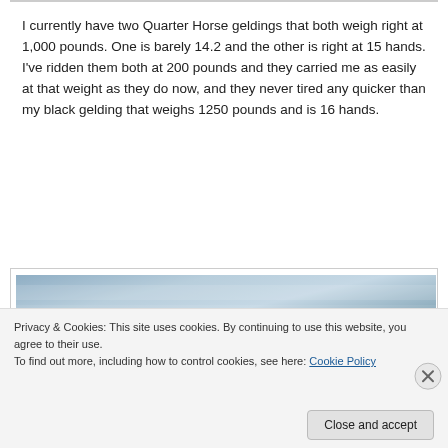I currently have two Quarter Horse geldings that both weigh right at 1,000 pounds. One is barely 14.2 and the other is right at 15 hands. I've ridden them both at 200 pounds and they carried me as easily at that weight as they do now, and they never tired any quicker than my black gelding that weighs 1250 pounds and is 16 hands.
[Figure (photo): Partial view of an image inside a bordered box, showing a blue-grey sky or outdoor scene, partially obscured by a cookie consent banner overlay.]
Privacy & Cookies: This site uses cookies. By continuing to use this website, you agree to their use.
To find out more, including how to control cookies, see here: Cookie Policy